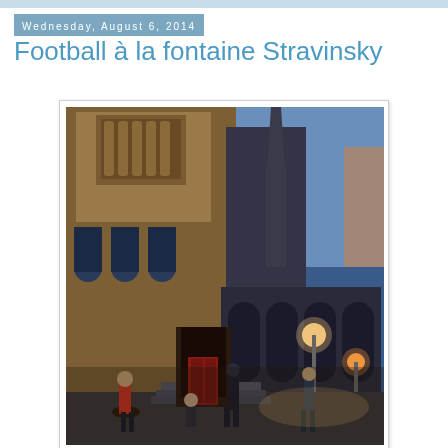Wednesday, August 6, 2014
Football à la fontaine Stravinsky
[Figure (photo): Evening photograph of a Gothic cathedral (likely Saint-Merri church near the Stravinsky fountain in Paris), lit with warm lights against a blue dusk sky. People are visible in the foreground near steps.]